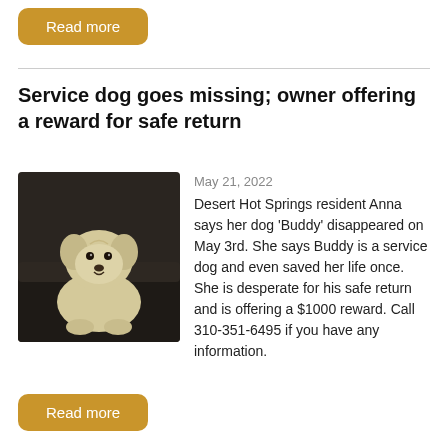Read more
Service dog goes missing; owner offering a reward for safe return
[Figure (photo): A small light-colored dog sitting on a dark leather couch, looking at the camera.]
May 21, 2022
Desert Hot Springs resident Anna says her dog 'Buddy' disappeared on May 3rd. She says Buddy is a service dog and even saved her life once. She is desperate for his safe return and is offering a $1000 reward. Call 310-351-6495 if you have any information.
Read more